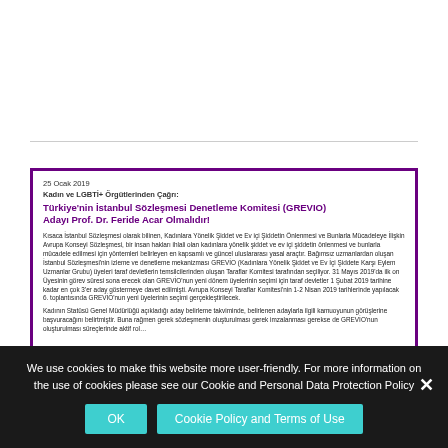[Figure (screenshot): Screenshot of a web article with a purple border. Title: 'Türkiye'nin İstanbul Sözleşmesi Denetleme Komitesi (GREVIO) Adayı Prof. Dr. Feride Acar Olmalıdır!' dated 25 Ocak 2019, with body text in Turkish.]
We use cookies to make this website more user-friendly. For more information on the use of cookies please see our Cookie and Personal Data Protection Policy